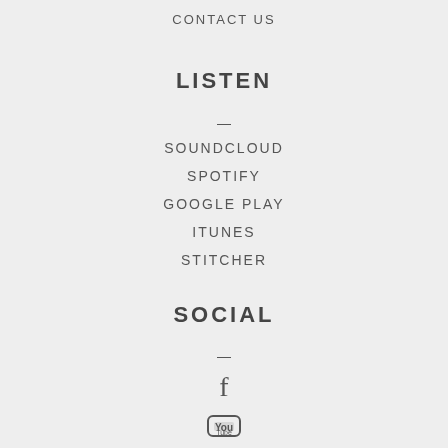CONTACT US
LISTEN
—
SOUNDCLOUD
SPOTIFY
GOOGLE PLAY
ITUNES
STITCHER
SOCIAL
—
[Figure (logo): Facebook icon]
[Figure (logo): YouTube icon]
[Figure (logo): Instagram icon]